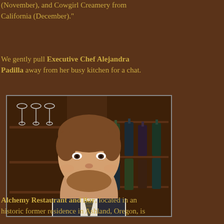(November), and Cowgirl Creamery from California (December)."
We gently pull Executive Chef Alejandra Padilla away from her busy kitchen for a chat.
[Figure (photo): A young man with a beard, wearing a dark vest over a white dress shirt with a striped tie, smiling in front of a bar with wine glasses hanging overhead and wine bottles on shelves behind him.]
Alchemy Restaurant and Bar, located in an historic former residence in Ashland, Oregon, is